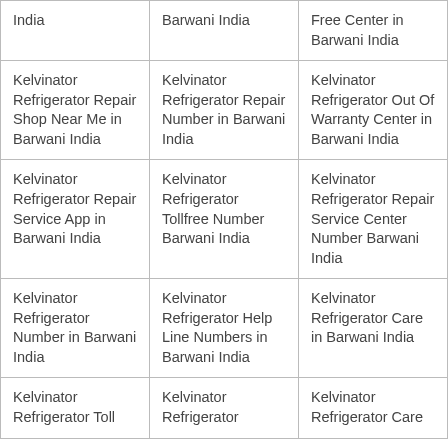| India | Barwani India | Free Center in Barwani India |
| Kelvinator Refrigerator Repair Shop Near Me in Barwani India | Kelvinator Refrigerator Repair Number in Barwani India | Kelvinator Refrigerator Out Of Warranty Center in Barwani India |
| Kelvinator Refrigerator Repair Service App in Barwani India | Kelvinator Refrigerator Tollfree Number Barwani India | Kelvinator Refrigerator Repair Service Center Number Barwani India |
| Kelvinator Refrigerator Number in Barwani India | Kelvinator Refrigerator Help Line Numbers in Barwani India | Kelvinator Refrigerator Care in Barwani India |
| Kelvinator Refrigerator Toll | Kelvinator Refrigerator | Kelvinator Refrigerator Care |